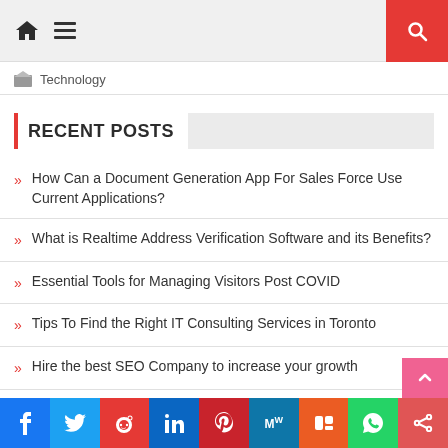Technology blog website header with home icon, menu, and search button
Technology
RECENT POSTS
How Can a Document Generation App For Sales Force Use Current Applications?
What is Realtime Address Verification Software and its Benefits?
Essential Tools for Managing Visitors Post COVID
Tips To Find the Right IT Consulting Services in Toronto
Hire the best SEO Company to increase your growth
f  Twitter  Reddit  in  Pinterest  MW  Mix  WhatsApp  Share